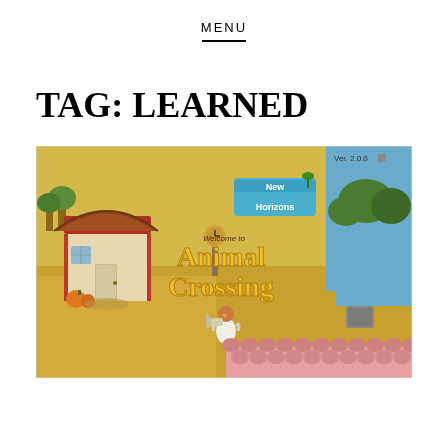MENU
TAG: LEARNED
[Figure (screenshot): Animal Crossing: New Horizons game screenshot showing the title screen with 'Welcome to Animal Crossing New Horizons' logo, a character standing in a village scene with a house, river, trees, and autumn colors. Ver. 2.0.0 shown in top right corner.]